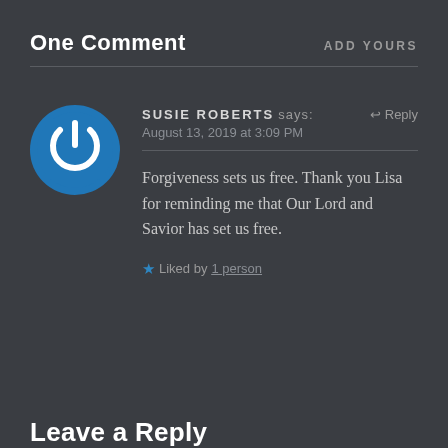One Comment
ADD YOURS
SUSIE ROBERTS says:
August 13, 2019 at 3:09 PM
Forgiveness sets us free. Thank you Lisa for reminding me that Our Lord and Savior has set us free.
Liked by 1 person
Leave a Reply